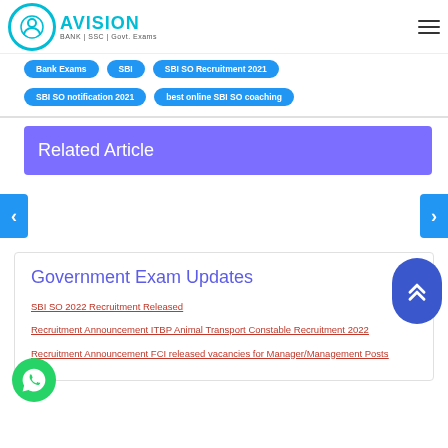Avision — BANK | SSC | Govt. Exams
Bank Exams
SBI
SBI SO Recruitment 2021
SBI SO notification 2021
best online SBI SO coaching
Related Article
Government Exam Updates
SBI SO 2022 Recruitment Released
Recruitment Announcement ITBP Animal Transport Constable Recruitment 2022
Recruitment Announcement FCI released vacancies for Manager/Management Posts